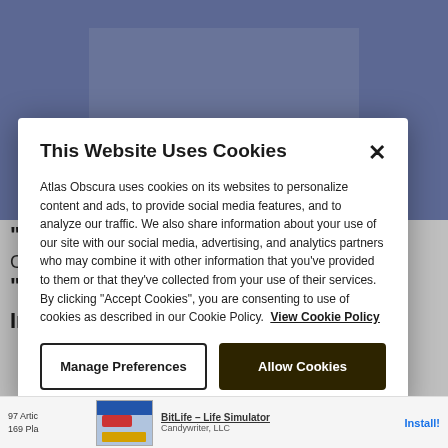[Figure (screenshot): Background webpage content showing a bluish-purple image at the top, with partial text visible beneath including quote marks, a caption, and a label 'In'. Behind a cookie consent modal overlay.]
This Website Uses Cookies
Atlas Obscura uses cookies on its websites to personalize content and ads, to provide social media features, and to analyze our traffic. We also share information about your use of our site with our social media, advertising, and analytics partners who may combine it with other information that you've provided to them or that they've collected from your use of their services. By clicking "Accept Cookies", you are consenting to use of cookies as described in our Cookie Policy. View Cookie Policy
Manage Preferences
Allow Cookies